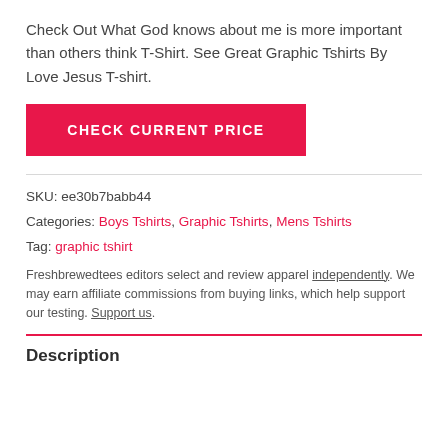Check Out What God knows about me is more important than others think T-Shirt. See Great Graphic Tshirts By Love Jesus T-shirt.
[Figure (other): Pink/red button labeled CHECK CURRENT PRICE]
SKU: ee30b7babb44
Categories: Boys Tshirts, Graphic Tshirts, Mens Tshirts
Tag: graphic tshirt
Freshbrewedtees editors select and review apparel independently. We may earn affiliate commissions from buying links, which help support our testing. Support us.
Description